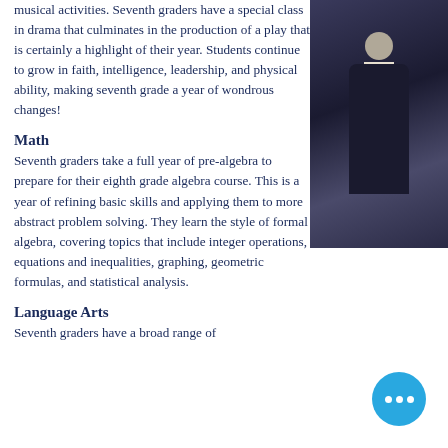musical activities. Seventh graders have a special class in drama that culminates in the production of a play that is certainly a highlight of their year. Students continue to grow in faith, intelligence, leadership, and physical ability, making seventh grade a year of wondrous changes!
[Figure (photo): Photo of a person wearing a dark navy jacket, partially visible on the right side of the page]
Math
Seventh graders take a full year of pre-algebra to prepare for their eighth grade algebra course. This is a year of refining basic skills and applying them to more abstract problem solving. They learn the style of formal algebra, covering topics that include integer operations, equations and inequalities, graphing, geometric formulas, and statistical analysis.
Language Arts
Seventh graders have a broad range of